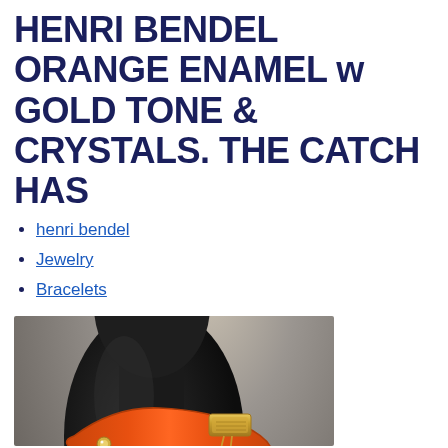HENRI BENDEL ORANGE ENAMEL w GOLD TONE & CRYSTALS. THE CATCH HAS
henri bendel
Jewelry
Bracelets
[Figure (photo): Orange enamel and gold tone Henri Bendel bracelet with crystals displayed on a black mannequin bust, showing a clasp with dangling chain detail]